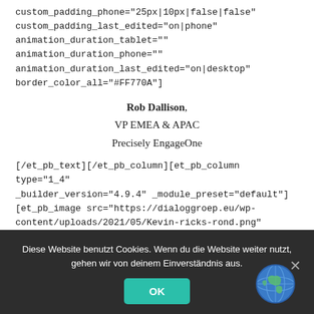custom_padding_phone="25px|10px|false|false" custom_padding_last_edited="on|phone" animation_duration_tablet="" animation_duration_phone="" animation_duration_last_edited="on|desktop" border_color_all="#FF770A"]
Rob Dallison, VP EMEA & APAC Precisely EngageOne
[/et_pb_text][/et_pb_column][et_pb_column type="1_4" _builder_version="4.9.4" _module_preset="default"] [et_pb_image src="https://dialoggroep.eu/wp-content/uploads/2021/05/Kevin-ricks-rond.png" alt="kevin ricks" title_text="Kevin ricks rond" align="center" align_tablet=""
Diese Website benutzt Cookies. Wenn du die Website weiter nutzt, gehen wir von deinem Einverständnis aus.